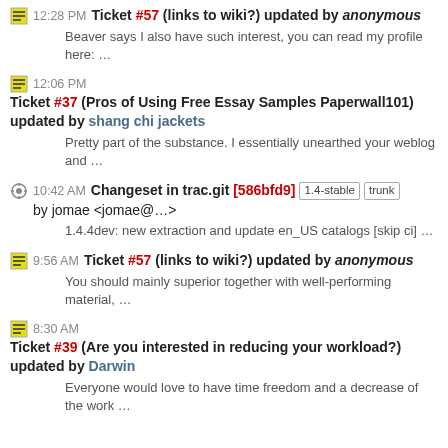12:28 PM Ticket #57 (links to wiki?) updated by anonymous
Beaver says I also have such interest, you can read my profile here: …
12:06 PM Ticket #37 (Pros of Using Free Essay Samples Paperwall101) updated by shang chi jackets
Pretty part of the substance. I essentially unearthed your weblog and …
10:42 AM Changeset in trac.git [586bfd9] 1.4-stable trunk by jomae <jomae@…>
1.4.4dev: new extraction and update en_US catalogs [skip ci] …
9:56 AM Ticket #57 (links to wiki?) updated by anonymous
You should mainly superior together with well-performing material, …
8:30 AM Ticket #39 (Are you interested in reducing your workload?) updated by Darwin
Everyone would love to have time freedom and a decrease of the work …